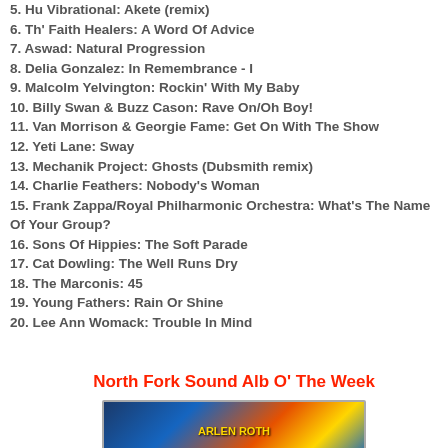5. Hu Vibrational: Akete (remix)
6. Th' Faith Healers: A Word Of Advice
7. Aswad: Natural Progression
8. Delia Gonzalez: In Remembrance - I
9. Malcolm Yelvington: Rockin' With My Baby
10. Billy Swan & Buzz Cason: Rave On/Oh Boy!
11. Van Morrison & Georgie Fame: Get On With The Show
12. Yeti Lane: Sway
13. Mechanik Project: Ghosts (Dubsmith remix)
14. Charlie Feathers: Nobody's Woman
15. Frank Zappa/Royal Philharmonic Orchestra: What's The Name Of Your Group?
16. Sons Of Hippies: The Soft Parade
17. Cat Dowling: The Well Runs Dry
18. The Marconis: 45
19. Young Fathers: Rain Or Shine
20. Lee Ann Womack: Trouble In Mind
North Fork Sound Alb O' The Week
[Figure (photo): Album cover image for the North Fork Sound Album of the Week]